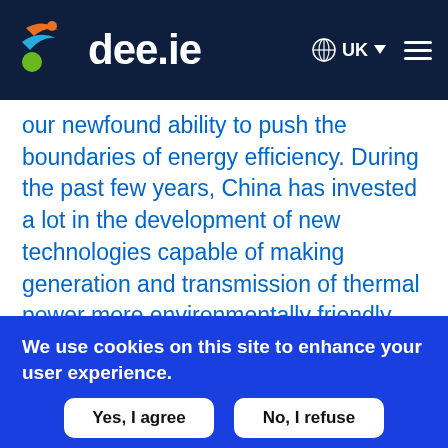dee.ie  UK
our newfound ability to push the boundaries of energy efficiency. During the past few years, China has invested a lot in the development of new technologies capable of making generation and transmission of thermal power more environmentally friendly and efficient. The results are visible even now: China’s new coal-fired plants are already working at higher temperatures and pressure (approaching “the limits of metallurgy”).
We use cookies on this site to enhance your user experience.
By clicking any link on this page you are giving your consent for us to set cookies.
Yes, I agree
No, I refuse